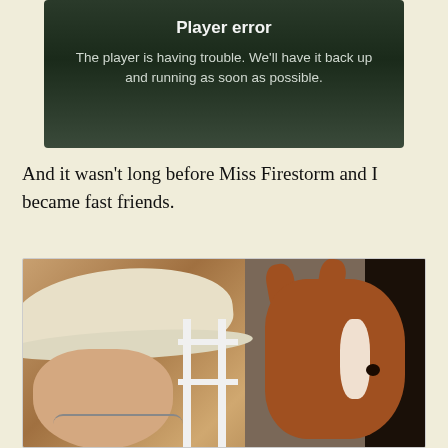[Figure (screenshot): Video player error screen with dark green/black background showing 'Player error' title and message: 'The player is having trouble. We'll have it back up and running as soon as possible.']
And it wasn't long before Miss Firestorm and I became fast friends.
[Figure (photo): A person wearing a light-colored flat cap and glasses, facing right, looking closely at a young brown horse (foal) with a white blaze on its face. The scene appears to be at a stable or barn with wooden planks and white fence rails visible in the background.]